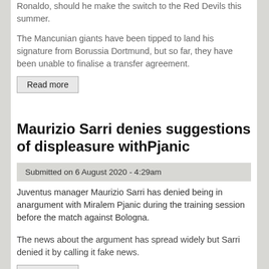Ronaldo, should he make the switch to the Red Devils this summer.
The Mancunian giants have been tipped to land his signature from Borussia Dortmund, but so far, they have been unable to finalise a transfer agreement.
Read more
Maurizio Sarri denies suggestions of displeasure withPjanic
Submitted on 6 August 2020 - 4:29am
Juventus manager Maurizio Sarri has denied being in anargument with Miralem Pjanic during the training session before the match against Bologna.
The news about the argument has spread widely but Sarri denied it by calling it fake news.
Read more